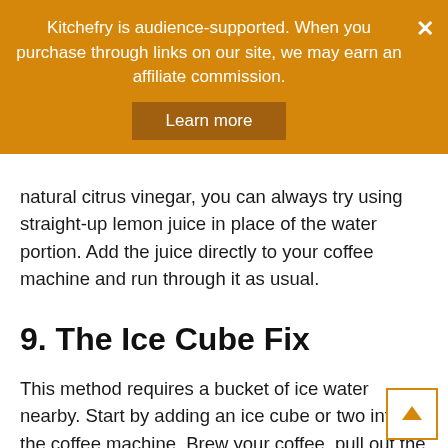Kitchefry is audience-supported. When you purchase through links on our site, we may earn an affiliate commission.
Learn more
natural citrus vinegar, you can always try using straight-up lemon juice in place of the water portion. Add the juice directly to your coffee machine and run through it as usual.
9. The Ice Cube Fix
This method requires a bucket of ice water nearby. Start by adding an ice cube or two into the coffee machine. Brew your coffee, pull out the basket and pour the remaining coffee out from it. Put in new coffee grounds and then re-run it with plain water. The ice cube will help to cool the coffee maker and then melt away after it is done.